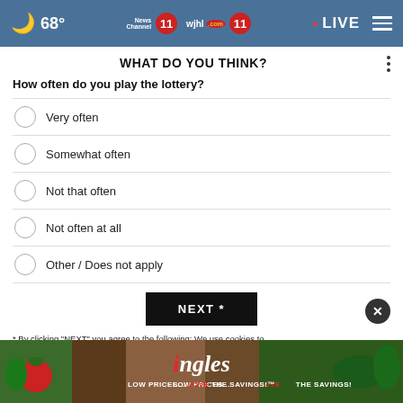68° News Channel 11 wjhl.com 11 · LIVE
WHAT DO YOU THINK?
How often do you play the lottery?
Very often
Somewhat often
Not that often
Not often at all
Other / Does not apply
NEXT *
* By clicking "NEXT" you agree to the following: We use cookies to track your survey answers. If you would like to continue with this survey please read and agree to the CivicScience Privacy Policy and Terms of Service.
[Figure (photo): Ingles supermarket advertisement banner showing vegetables and the Ingles logo with tagline LOW PRICES... LOVE THE SAVINGS!]